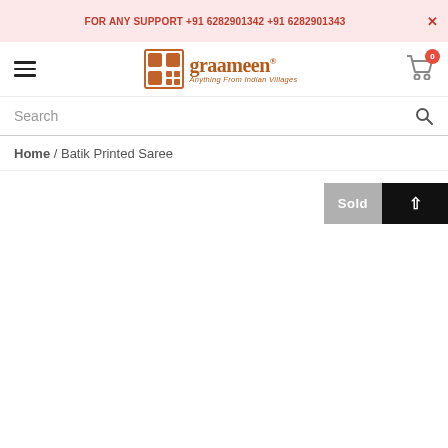FOR ANY SUPPORT +91 6282901342 +91 6282901343
[Figure (logo): Graameen logo with grid icon and tagline 'Anything From Indian Villages']
Search
Home / Batik Printed Saree
Sold